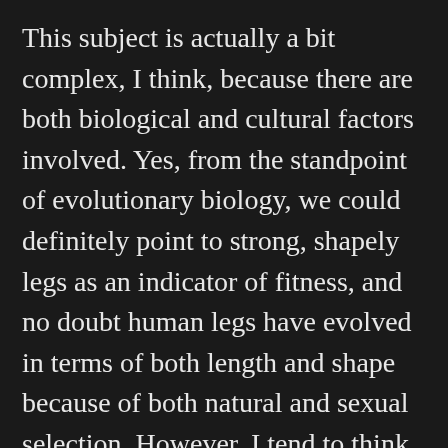This subject is actually a bit complex, I think, because there are both biological and cultural factors involved. Yes, from the standpoint of evolutionary biology, we could definitely point to strong, shapely legs as an indicator of fitness, and no doubt human legs have evolved in terms of both length and shape because of both natural and sexual selection. However, I tend to think that various cultural factors overlaying all this are probably even more important for “leg men,” who imprint on their particular focus within a specific cultural context.
The accidents of personal experience play a very significant part. If you come to associate